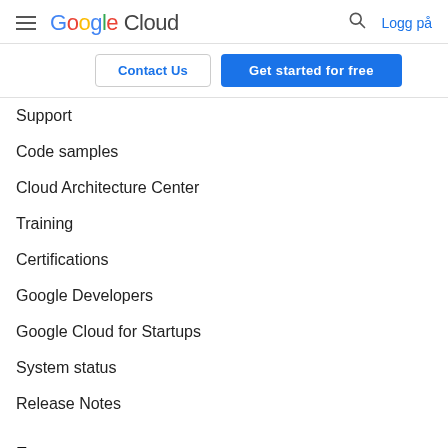Google Cloud — Logg på
Contact Us
Get started for free
Support
Code samples
Cloud Architecture Center
Training
Certifications
Google Developers
Google Cloud for Startups
System status
Release Notes
Engage